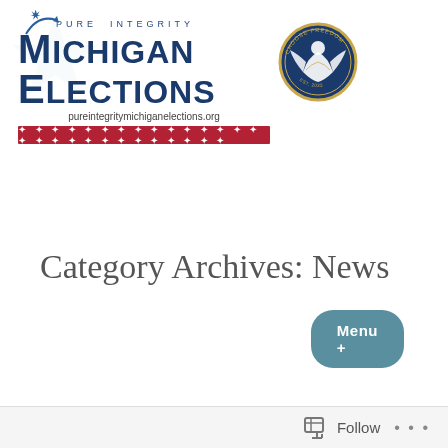[Figure (logo): Pure Integrity Michigan Elections logo with eagle seal badge on right. Logo shows 'PURE INTEGRITY' in small caps above large 'MICHIGAN ELECTIONS' text, website URL pureintegritymi chiganelections.org, and a red stars bar below. An eagle/freedom badge is on the right.]
Menu +
Category Archives: News
Follow ...